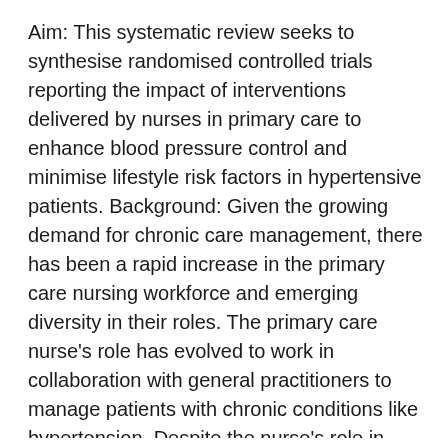Aim: This systematic review seeks to synthesise randomised controlled trials reporting the impact of interventions delivered by nurses in primary care to enhance blood pressure control and minimise lifestyle risk factors in hypertensive patients. Background: Given the growing demand for chronic care management, there has been a rapid increase in the primary care nursing workforce and emerging diversity in their roles. The primary care nurse's role has evolved to work in collaboration with general practitioners to manage patients with chronic conditions like hypertension. Despite the nurse's role in lifestyle modification and behaviour change, there is limited evidence exploring the impact of primary care nurse-initiated interventions for lifestyle modification in those with hypertension. Design/methods: A systematic review of randomised controlled trials will be conducted.